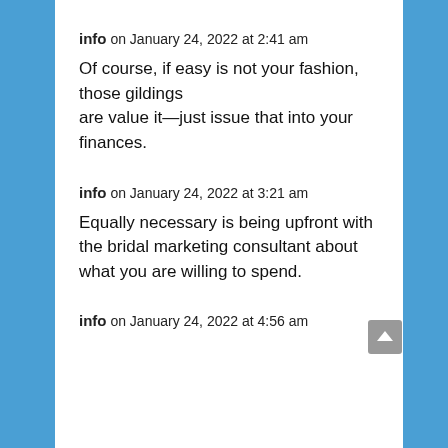info on January 24, 2022 at 2:41 am
Of course, if easy is not your fashion, those gildings are value it—just issue that into your finances.
info on January 24, 2022 at 3:21 am
Equally necessary is being upfront with the bridal marketing consultant about what you are willing to spend.
info on January 24, 2022 at 4:56 am